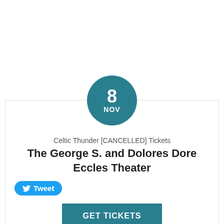[Figure (other): Teal circular date badge showing day number 8 and month NOV]
Celtic Thunder [CANCELLED] Tickets
The George S. and Dolores Dore Eccles Theater
[Figure (other): Twitter Tweet button in blue with bird icon and text Tweet]
[Figure (other): GET TICKETS button in teal]